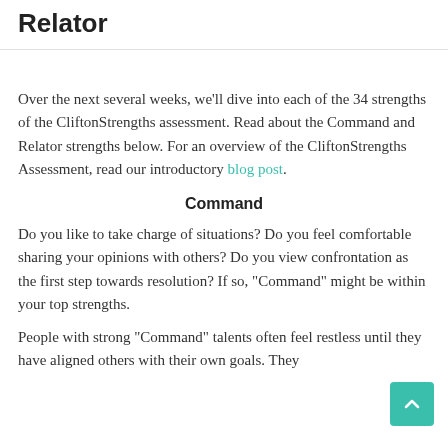Relator
Over the next several weeks, we’ll dive into each of the 34 strengths of the CliftonStrengths assessment. Read about the Command and Relator strengths below. For an overview of the CliftonStrengths Assessment, read our introductory blog post.
Command
Do you like to take charge of situations? Do you feel comfortable sharing your opinions with others? Do you view confrontation as the first step towards resolution? If so, “Command” might be within your top strengths.
People with strong “Command” talents often feel restless until they have aligned others with their own goals. They